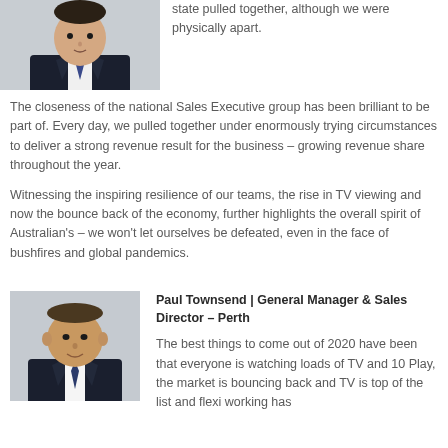[Figure (photo): Portrait photo of a man in a dark suit with striped tie, professional headshot, upper body visible]
state pulled together, although we were physically apart.

The closeness of the national Sales Executive group has been brilliant to be part of. Every day, we pulled together under enormously trying circumstances to deliver a strong revenue result for the business – growing revenue share throughout the year.
Witnessing the inspiring resilience of our teams, the rise in TV viewing and now the bounce back of the economy, further highlights the overall spirit of Australian's – we won't let ourselves be defeated, even in the face of bushfires and global pandemics.
[Figure (photo): Portrait photo of Paul Townsend, a man in dark suit with tie, smiling, professional headshot]
Paul Townsend | General Manager & Sales Director – Perth
The best things to come out of 2020 have been that everyone is watching loads of TV and 10 Play, the market is bouncing back and TV is top of the list and flexi working has